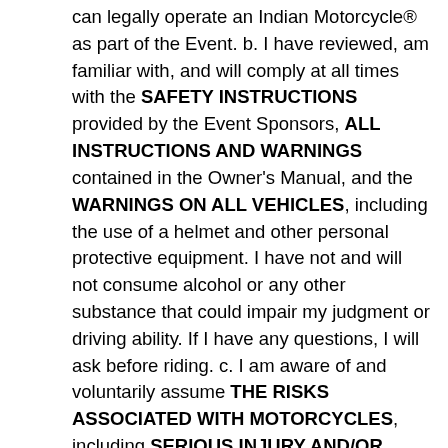can legally operate an Indian Motorcycle® as part of the Event. b. I have reviewed, am familiar with, and will comply at all times with the SAFETY INSTRUCTIONS provided by the Event Sponsors, ALL INSTRUCTIONS AND WARNINGS contained in the Owner's Manual, and the WARNINGS ON ALL VEHICLES, including the use of a helmet and other personal protective equipment. I have not and will not consume alcohol or any other substance that could impair my judgment or driving ability. If I have any questions, I will ask before riding. c. I am aware of and voluntarily assume THE RISKS ASSOCIATED WITH MOTORCYCLES, including SERIOUS INJURY AND/OR DEATH caused by loss of vehicle control, collisions, mechanical failures, trail conditions, my own negligent acts, the negligent acts of other riders, and the potential negligence of Event Sponsors, including the failure to adequately screen, train, warn, or otherwise protect me from all these risks. 3. I AGREE TO WAIVE TO THE FULLEST EXTENT ALLOWED BY LAW ANY AND ALL CLAIMS OF ANY KIND that I have or may in the future have relating to the Event, whether directly or by subrogation or otherwise, against the Event Sponsors. 4. I AGREE TO RELEASE THE EVENT SPONSORS FROM ANY AND ALL LIABILITY for any